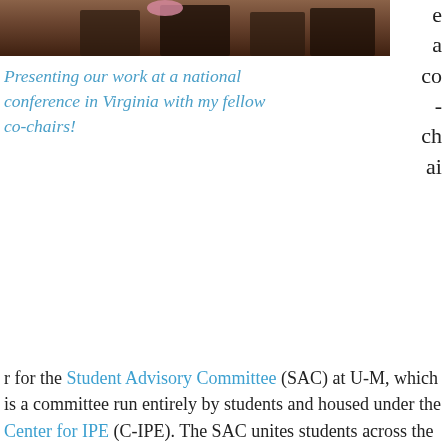[Figure (photo): Bottom portion of a photo showing people standing, likely at a conference, with wooden background visible.]
Presenting our work at a national conference in Virginia with my fellow co-chairs!
e a co - ch ai r for the Student Advisory Committee (SAC) at U-M, which is a committee run entirely by students and housed under the Center for IPE (C-IPE). The SAC unites students across the U-M health professional schools to promote and engage students in IPE, with a goal of ensuring that graduates will be prepared to work in interprofessional environments upon leaving the university. Through SAC, I met two of my best friends who are dental students. I've learned so much about how to be a better